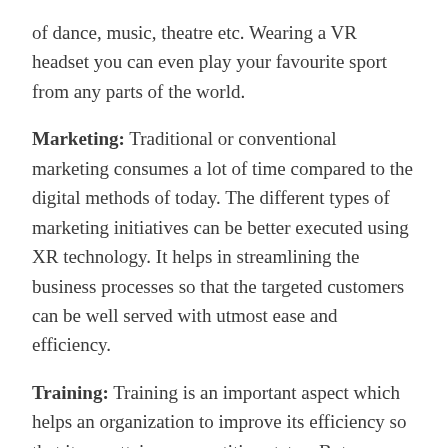of dance, music, theatre etc. Wearing a VR headset you can even play your favourite sport from any parts of the world.
Marketing: Traditional or conventional marketing consumes a lot of time compared to the digital methods of today. The different types of marketing initiatives can be better executed using XR technology. It helps in streamlining the business processes so that the targeted customers can be well served with utmost ease and efficiency.
Training: Training is an important aspect which helps an organization to improve its efficiency so that it can attain a competitive status. But definitely, training involves huge time and money along with travelling in cases where office locations are in remote places. To reduce all these hassles XR or extended reality through which companies can experience collaborative discussion, meetings training without the need to travel far off areas or hire an external trainer for the